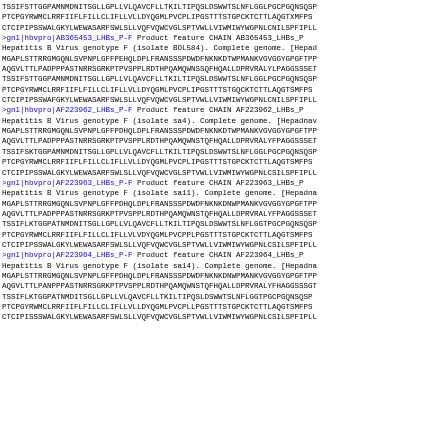TSSIFSTTGGPAMNMDNITSGLLGPLLVLQAVCFLLTKILTIPQSLDSWWTSLNFLGGLPGCPGQNSQSP
PTCPGYRWMCLRRFIIFLFILLCLIFLLVLLDYQGMLPVCPLIPGSTTTSTGPCKTCTTLAQGTXMFPS
CTCIPIPSSWALGKYLWEWASARFSWLSLLVQFVQWCVGLSPTVWLLVIWMIWYWGPNLCNILSPFIPLL
>gnl|hbvpro|AB365453_LHBs_P-F  Product  feature  CHAIN  AB365453_LHBs_P
Hepatitis B Virus genotype F (isolate BOL584). Complete genome. [Hepad
MGAPLSTTRRGMGQNLSVPNPLGFFPEHQLDPLFRANSSSPDWDFNKNKDTWPMANKVGVGGYGPGFTPP
AQGVLTTLPADPPPASTNRRSGRKPTPVSPPLRDTHPQAMQWNSSQFHQALLDPRVRALYLPAGGSSSET
TSSIFSTTGGPAMNMDNITSGLLGPLLVLQAVCFLLTKILTIPQSLDSWWTSLNFLGGLPGCPGQNSQSP
PTCPGYRWMCLRRFIIFLFILLCLIFLLVLLDYQGMLPVCPLIPGSTTTSTGQCKTCTTLAQGTSMFPS
CTCIPIPSSWAFGKYLWEWASARFSWLSLLVQFVQWCVGLSPTVWLLVIWMIWYWGPNLCNILSPFIPLL
>gnl|hbvpro|AF223962_LHBs_P-F  Product  feature  CHAIN  AF223962_LHBs_P
Hepatitis B Virus genotype F (isolate sa4). Complete genome. [Hepadnav
MGAPLSTTRRGMGQNLSVPNPLGFFPDHQLDPLFRANSSSPDWDFNKNKDTWPMANKVGVGGYGPGFTPP
AQGVLTTLPADPPPASTNRRSGRKPTPVSPPLRDTHPQAMQWNSTQFHQALLDPRVRALYFPAGGSSSET
TSSIFSKTGGPAMNMDNITSGLLGPLLVLQAVCFLLTKILTIPQSLDSWWTSLNFLGGLPGCPGQNSQSP
PTCPGYRWMCLRRFIIFLFILLCLIFLLVLLDYQGMLPVCPLIPGSTTTSTGPCKTCTTLAQGTSMFPS
CTCIPIPSSWALGKYLWEWASARFSWLSLLVQFVQWCVGLSPTVWLLVIWMIWYWGPNLCSILSPFIPLL
>gnl|hbvpro|AF223963_LHBs_P-F  Product  feature  CHAIN  AF223963_LHBs_P
Hepatitis B Virus genotype F (isolate sa11). Complete genome. [Hepadna
MGAPLSTTRRGMGQNLSVPNPLGFFPDHQLDPLFRANSSSPDWDFNKNKDNWPMANKVGVGGYGPGFTPP
AQGVLTTLPADPPPASTNRRSGRKPTPVSPPLRDTHPQAMQWNSTQFHQALLDPRVRALYFPAGGSSSET
TSSIFLKTGGPATNMDNITSGLLGPLLVLQAVCFLLTKILTIPQSLDSWWTSLNFLGGTPGCPGQNSQSP
PTCPGYRWMCLRRFIIFLFILLCLIFLLVLVDYQGMLPVCPPLPGSTTTSTGPCKTCTTLAQGTSMFPS
CTCIPIPSSWALGKYLWEWASARFSWLSLLVQFVQWCVGLSPTVWLLVIWMIWYWGPNLCSILSPFIPLL
>gnl|hbvpro|AF223964_LHBs_P-F  Product  feature  CHAIN  AF223964_LHBs_P
Hepatitis B Virus genotype F (isolate sa14). Complete genome. [Hepadna
MGAPLSTTRRGMGQNLSVPNPLGFFPDHQLDPLFRANSSSPDWDFNKNKDNWPMANKVGVGGYGPGFTPP
AQGVLTTLPANPPPASTNRRSGRKPTPVSPPLRDTHPQAMQWNSTQFHQALLDPRVRALYFHAGGSSSGT
TSSIFLKTGGPATNMDITSGLLGPLLVLQAVCFLLTKILTIPQSLDSWWTSLNFLGGTPGCPGQNSQSP
PTCPGYRWMCLRRFIIFLFILLCLIFLLVLLDYQGMLPVCPLLPGSTTTSTGPCKTCTTLAQGTSMFPS
CTCIPISSSWALGKYLWEWASARFSWLSLLVQFVQWCVGLSPTVWLLVIWMIWYWGPNLCSILSPFIPLL